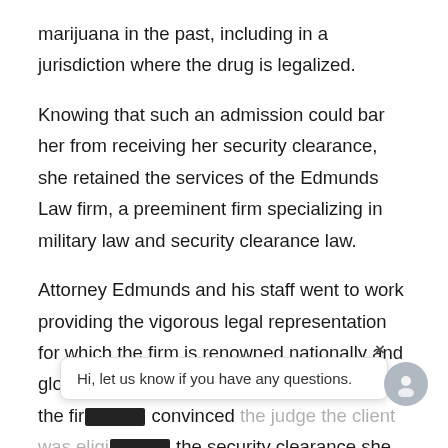marijuana in the past, including in a jurisdiction where the drug is legalized.
Knowing that such an admission could bar her from receiving her security clearance, she retained the services of the Edmunds Law firm, a preeminent firm specializing in military law and security clearance law.
Attorney Edmunds and his staff went to work providing the vigorous legal representation for which the firm is renowned nationally and globally. Using the Whole Person concept, the firm convinced the judge the client was eligible for the security clearance she needed for her promotion.